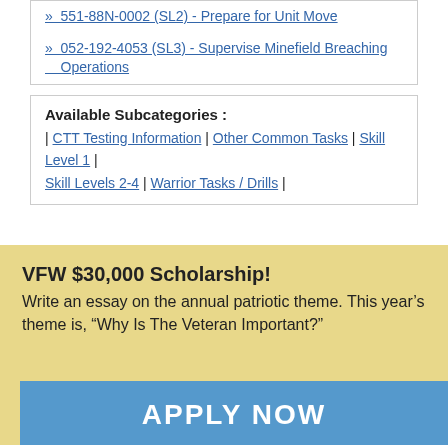» 551-88N-0002 (SL2) - Prepare for Unit Move
» 052-192-4053 (SL3) - Supervise Minefield Breaching Operations
Available Subcategories : | CTT Testing Information | Other Common Tasks | Skill Level 1 | Skill Levels 2-4 | Warrior Tasks / Drills |
VFW $30,000 Scholarship!
Write an essay on the annual patriotic theme. This year's theme is, “Why Is The Veteran Important?”
APPLY NOW